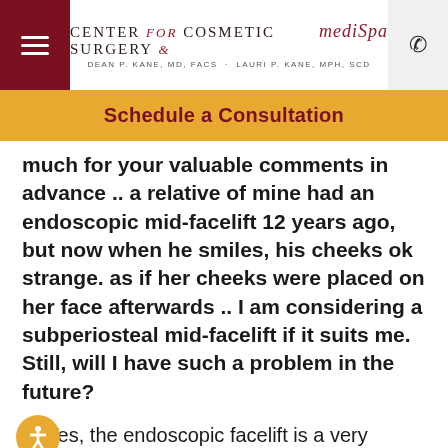CENTER for COSMETIC SURGERY & mediSpa — DEAN P. KANE, MD, FACS · LAURI P. KANE, MPH, SCD
Schedule a Consultation
much for your valuable comments in advance .. a relative of mine had an endoscopic mid-facelift 12 years ago, but now when he smiles, his cheeks ok strange. as if her cheeks were placed on her face afterwards .. I am considering a subperiosteal mid-facelift if it suits me. Still, will I have such a problem in the future?
A: Yes, the endoscopic facelift is a very